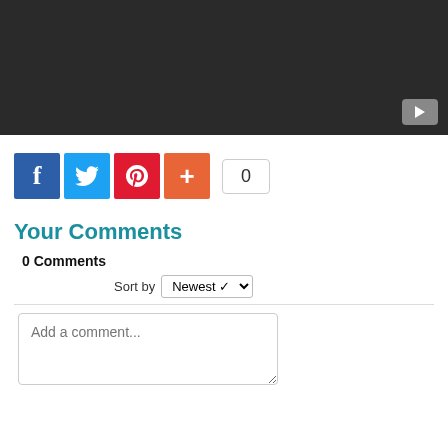[Figure (screenshot): Dark video player area with a YouTube play button icon in the bottom-right corner]
[Figure (infographic): Social share bar with Facebook (blue), Twitter (light blue), Pinterest (red), Google+ (orange) buttons, and a share count badge showing 0]
Your Comments
0 Comments
Sort by Newest
Add a comment...